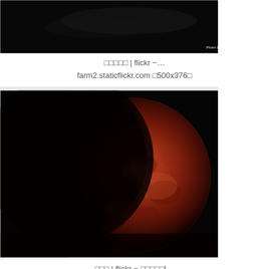[Figure (photo): Partial dark image with 'Photo By Kevin Yau' watermark at bottom right — top of image is cut off, dark/black background]
□□□□□ | flickr −...
farm2.staticflickr.com □500x376□
[Figure (photo): Blood moon / lunar eclipse photo: large reddish-orange moon against pure black background, showing roughly the right half of the moon illuminated in deep red and orange tones]
□□□ | flickr − □□□□□!...
farm3.staticflickr.com □500x332□
[Figure (photo): Partial third image, mostly cut off at bottom of page — dark background visible]